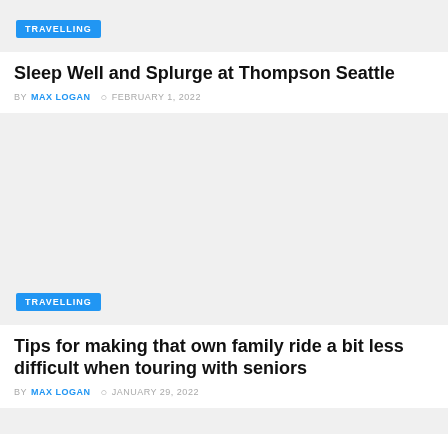[Figure (photo): Light grey placeholder image with a TRAVELLING tag badge in blue at the bottom left]
Sleep Well and Splurge at Thompson Seattle
BY MAX LOGAN  © FEBRUARY 1, 2022
[Figure (photo): Light grey placeholder image with a TRAVELLING tag badge in blue at the bottom left]
Tips for making that own family ride a bit less difficult when touring with seniors
BY MAX LOGAN  © JANUARY 29, 2022
[Figure (photo): Light grey placeholder image partial at bottom]